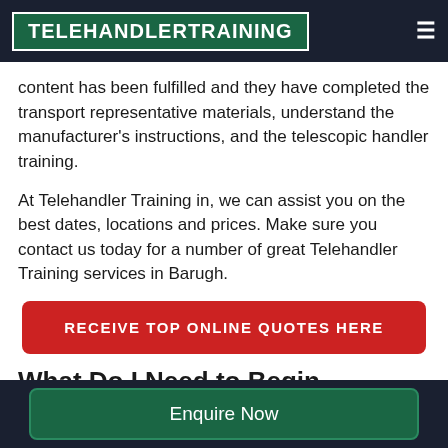TELEHANDLERTRAINING
content has been fulfilled and they have completed the transport representative materials, understand the manufacturer's instructions, and the telescopic handler training.
At Telehandler Training in, we can assist you on the best dates, locations and prices. Make sure you contact us today for a number of great Telehandler Training services in Barugh.
RECEIVE TOP ONLINE QUOTES HERE
What Do I Need to Begin
Enquire Now